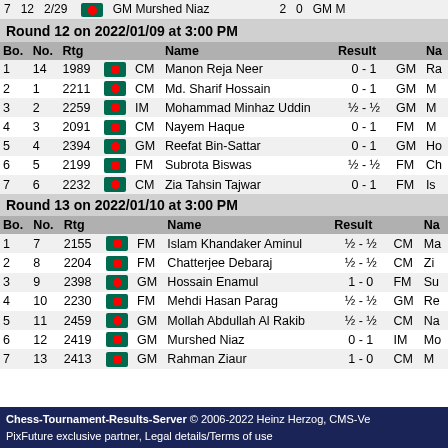| Bo. | No. | Rtg |  |  | Name | Result |  | Na |
| --- | --- | --- | --- | --- | --- | --- | --- | --- |
| 1 | 14 | 1989 |  | CM | Manon Reja Neer | 0 - 1 | GM | Ra |
| 2 | 1 | 2211 |  | CM | Md. Sharif Hossain | 0 - 1 | GM | M |
| 3 | 2 | 2259 |  | IM | Mohammad Minhaz Uddin | ½ - ½ | GM | M |
| 4 | 3 | 2091 |  | CM | Nayem Haque | 0 - 1 | FM | M |
| 5 | 4 | 2394 |  | GM | Reefat Bin-Sattar | 0 - 1 | GM | Ho |
| 6 | 5 | 2199 |  | FM | Subrota Biswas | ½ - ½ | FM | Ch |
| 7 | 6 | 2232 |  | CM | Zia Tahsin Tajwar | 0 - 1 | FM | Is |
Round 13 on 2022/01/10 at 3:00 PM
| Bo. | No. | Rtg |  |  | Name | Result |  | Na |
| --- | --- | --- | --- | --- | --- | --- | --- | --- |
| 1 | 7 | 2155 |  | FM | Islam Khandaker Aminul | ½ - ½ | CM | Ma |
| 2 | 8 | 2204 |  | FM | Chatterjee Debaraj | ½ - ½ | CM | Zi |
| 3 | 9 | 2398 |  | GM | Hossain Enamul | 1 - 0 | FM | Su |
| 4 | 10 | 2230 |  | FM | Mehdi Hasan Parag | ½ - ½ | GM | Re |
| 5 | 11 | 2459 |  | GM | Mollah Abdullah Al Rakib | ½ - ½ | CM | Na |
| 6 | 12 | 2419 |  | GM | Murshed Niaz | 0 - 1 | IM | Mo |
| 7 | 13 | 2413 |  | GM | Rahman Ziaur | 1 - 0 | CM | M |
Chess-Tournament-Results-Server © 2006-2022 Heinz Herzog, CMS-Ve PixFuture exclusive partner, Legal details/Terms of use